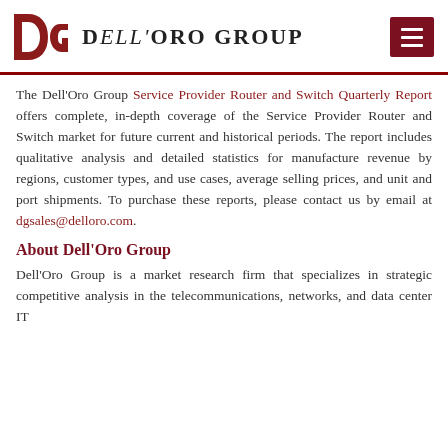Dell'Oro Group
The Dell'Oro Group Service Provider Router and Switch Quarterly Report offers complete, in-depth coverage of the Service Provider Router and Switch market for future current and historical periods. The report includes qualitative analysis and detailed statistics for manufacture revenue by regions, customer types, and use cases, average selling prices, and unit and port shipments. To purchase these reports, please contact us by email at dgsales@delloro.com.
About Dell'Oro Group
Dell'Oro Group is a market research firm that specializes in strategic competitive analysis in the telecommunications, networks, and data center IT